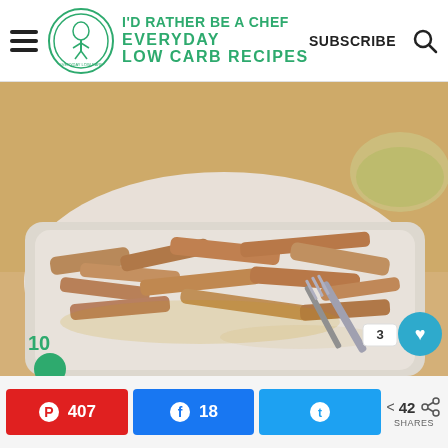I'D RATHER BE A CHEF — EVERYDAY LOW CARB RECIPES | SUBSCRIBE
[Figure (photo): Shredded pulled pork in a white ceramic baking dish with a fork, with a glass bowl of green sauce visible in the background on a wooden surface]
Pinterest 407 | Facebook 18 | Twitter | 42 SHARES